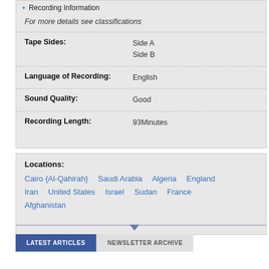Recording Information
For more details see classifications
| Field | Value |
| --- | --- |
| Tape Sides: | Side A
Side B |
| Language of Recording: | English |
| Sound Quality: | Good |
| Recording Length: | 93Minutes |
Locations: Cairo {Al-Qahirah}   Saudi Arabia   Algeria   England   Iran   United States   Israel   Sudan   France   Afghanistan
LATEST ARTICLES   NEWSLETTER ARCHIVE